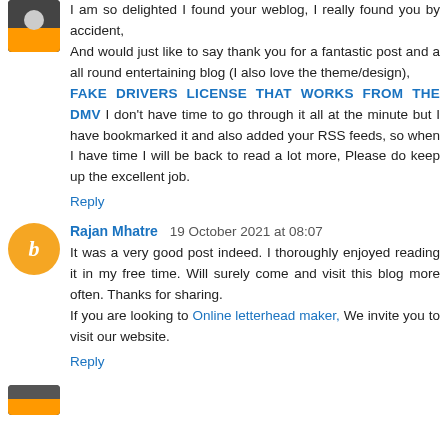I am so delighted I found your weblog, I really found you by accident, And would just like to say thank you for a fantastic post and a all round entertaining blog (I also love the theme/design), FAKE DRIVERS LICENSE THAT WORKS FROM THE DMV I don't have time to go through it all at the minute but I have bookmarked it and also added your RSS feeds, so when I have time I will be back to read a lot more, Please do keep up the excellent job.
Reply
Rajan Mhatre  19 October 2021 at 08:07
It was a very good post indeed. I thoroughly enjoyed reading it in my free time. Will surely come and visit this blog more often. Thanks for sharing. If you are looking to Online letterhead maker, We invite you to visit our website.
Reply